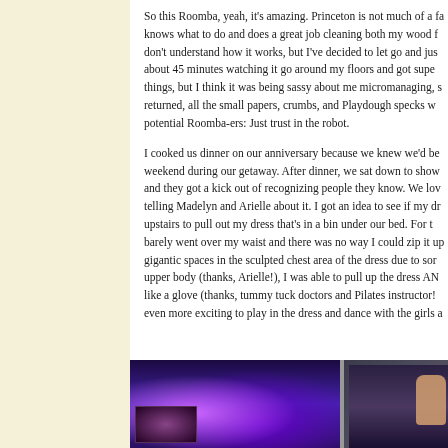So this Roomba, yeah, it's amazing. Princeton is not much of a fa knows what to do and does a great job cleaning both my wood f don't understand how it works, but I've decided to let go and jus about 45 minutes watching it go around my floors and got supe things, but I think it was being sassy about me micromanaging, s returned, all the small papers, crumbs, and Playdough specks w potential Roomba-ers: Just trust in the robot.

I cooked us dinner on our anniversary because we knew we'd be weekend during our getaway. After dinner, we sat down to show and they got a kick out of recognizing people they know. We lov telling Madelyn and Arielle about it. I got an idea to see if my dr upstairs to pull out my dress that's in a bin under our bed. For t barely went over my waist and there was no way I could zip it up gigantic spaces in the sculpted chest area of the dress due to sor upper body (thanks, Arielle!), I was able to pull up the dress AN like a glove (thanks, tummy tuck doctors and Pilates instructor! even more exciting to play in the dress and dance with the girls a
[Figure (photo): Two photos side by side showing a room with a TV displaying purple/colorful screen content on the left, and a darker room with gaming or screen setup and a raised hand visible on the right.]